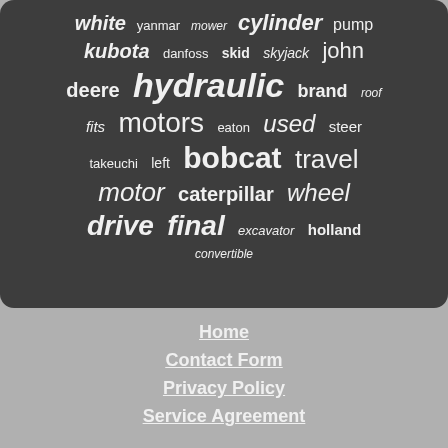[Figure (infographic): Word cloud on dark background with terms related to hydraulic motors and machinery parts: white, yanmar, mower, cylinder, pump, kubota, danfoss, skid, skyjack, john, deere, hydraulic, brand, roof, fits, motors, eaton, used, steer, takeuchi, left, bobcat, travel, motor, caterpillar, wheel, drive, final, excavator, holland, convertible]
Home
Contact Form
Privacy Policy
Service Agreement